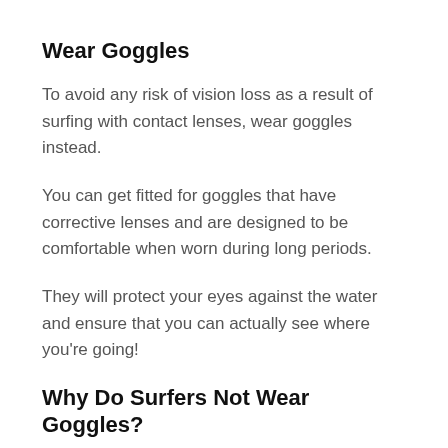Wear Goggles
To avoid any risk of vision loss as a result of surfing with contact lenses, wear goggles instead.
You can get fitted for goggles that have corrective lenses and are designed to be comfortable when worn during long periods.
They will protect your eyes against the water and ensure that you can actually see where you're going!
Why Do Surfers Not Wear Goggles?
Some surfers who have tried wearing goggles while surfing reported that the goggles fall of their faces